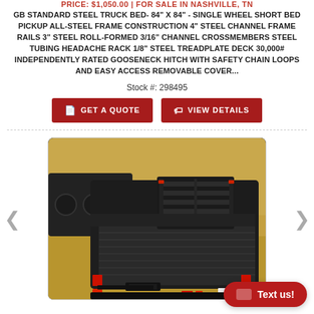PRICE: $1,050.00 | FOR SALE IN NASHVILLE, TN
GB STANDARD STEEL TRUCK BED- 84" X 84" - SINGLE WHEEL SHORT BED PICKUP ALL-STEEL FRAME CONSTRUCTION 4" STEEL CHANNEL FRAME RAILS 3" STEEL ROLL-FORMED 3/16" CHANNEL CROSSMEMBERS STEEL TUBING HEADACHE RACK 1/8" STEEL TREADPLATE DECK 30,000# INDEPENDENTLY RATED GOOSENECK HITCH WITH SAFETY CHAIN LOOPS AND EASY ACCESS REMOVABLE COVER...
Stock #: 298495
GET A QUOTE
VIEW DETAILS
[Figure (photo): Black steel truck flatbed with headache rack, shown outdoors on dry grass. Red marker lights visible on corners. Manufacturer badge on bottom rail.]
Text us!